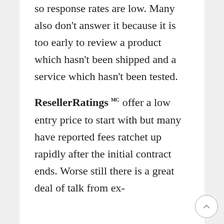so response rates are low. Many also don't answer it because it is too early to review a product which hasn't been shipped and a service which hasn't been tested.
ResellerRatings ™ offer a low entry price to start with but many have reported fees ratchet up rapidly after the initial contract ends. Worse still there is a great deal of talk from ex-